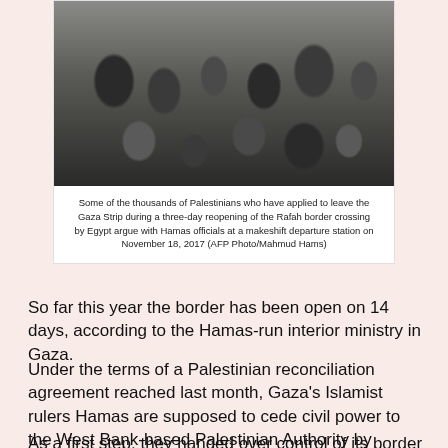[Figure (photo): A large crowd of Palestinians at a makeshift departure station, with people arguing and gesturing, taken on November 18, 2017.]
Some of the thousands of Palestinians who have applied to leave the Gaza Strip during a three-day reopening of the Rafah border crossing by Egypt argue with Hamas officials at a makeshift departure station on November 18, 2017 (AFP Photo/Mahmud Hams)
So far this year the border has been open on 14 days, according to the Hamas-run interior ministry in Gaza.
Under the terms of a Palestinian reconciliation agreement reached last month, Gaza's Islamist rulers Hamas are supposed to cede civil power to the West Bank-based Palestinian Authority by December 1.
As a first step, they handed over control of its border